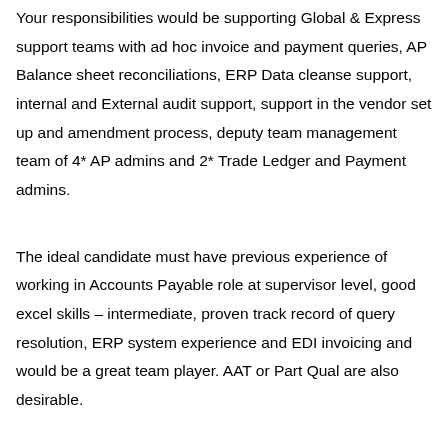Your responsibilities would be supporting Global & Express support teams with ad hoc invoice and payment queries, AP Balance sheet reconciliations, ERP Data cleanse support, internal and External audit support, support in the vendor set up and amendment process, deputy team management team of 4* AP admins and 2* Trade Ledger and Payment admins.
The ideal candidate must have previous experience of working in Accounts Payable role at supervisor level, good excel skills – intermediate, proven track record of query resolution, ERP system experience and EDI invoicing and would be a great team player. AAT or Part Qual are also desirable.